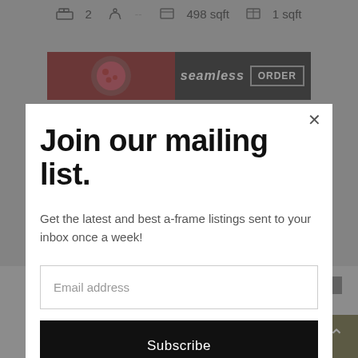[Figure (screenshot): Website screenshot showing a mailing list modal popup over a real estate/accommodation listing page. Behind the modal: top bar with icons showing 2 bedrooms, bath, 498 sqft, 1 sqft; a Seamless food ordering banner; and bottom content including Colorado listing and Bloomingdale's advertisement.]
Join our mailing list.
Get the latest and best a-frame listings sent to your inbox once a week!
Email address
Subscribe